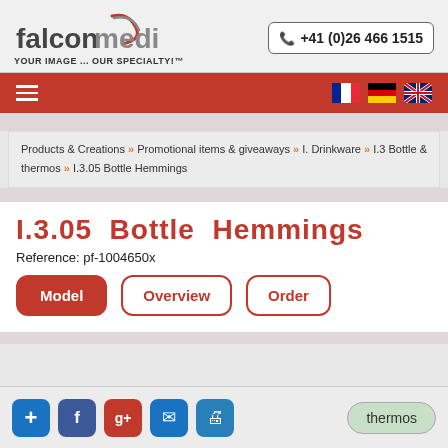[Figure (logo): Falcon Media logo with orange/grey swoosh and text 'falconmedia', tagline 'YOUR IMAGE ... OUR SPECIALTY!']
+41 (0)26 466 1515
[Figure (infographic): Red navigation bar with hamburger menu icon on left and three country flags (France, Germany, UK) on right]
Products & Creations » Promotional items & giveaways » I. Drinkware » I.3 Bottle & thermos » I.3.05 Bottle Hemmings
I.3.05  Bottle  Hemmings
Reference: pf-1004650x
Model
Overview
Order
thermos